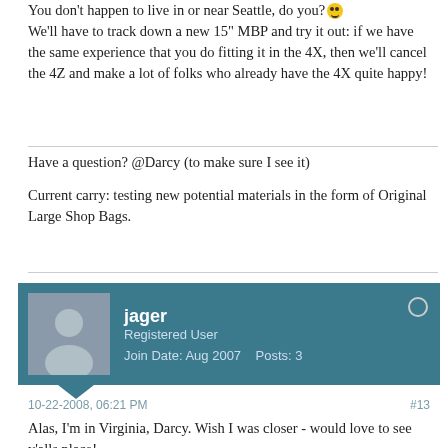You don't happen to live in or near Seattle, do you? 🙂 We'll have to track down a new 15" MBP and try it out: if we have the same experience that you do fitting it in the 4X, then we'll cancel the 4Z and make a lot of folks who already have the 4X quite happy!
Have a question? @Darcy (to make sure I see it)
Current carry: testing new potential materials in the form of Original Large Shop Bags.
jager
Registered User
Join Date: Aug 2007    Posts: 3
10-22-2008, 06:21 PM
#13
Alas, I'm in Virginia, Darcy. Wish I was closer - would love to see y'alls place!

Jeff